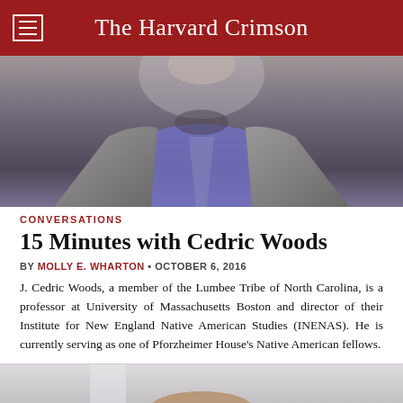The Harvard Crimson
[Figure (photo): Photo of Cedric Woods, a man wearing a grey blazer and purple shirt with a patterned tie, photographed from the chest up against a grey background.]
CONVERSATIONS
15 Minutes with Cedric Woods
BY MOLLY E. WHARTON • OCTOBER 6, 2016
J. Cedric Woods, a member of the Lumbee Tribe of North Carolina, is a professor at University of Massachusetts Boston and director of their Institute for New England Native American Studies (INENAS). He is currently serving as one of Pforzheimer House's Native American fellows.
[Figure (photo): Partial photo of another person, showing the top of their head with brown hair, against a light background.]